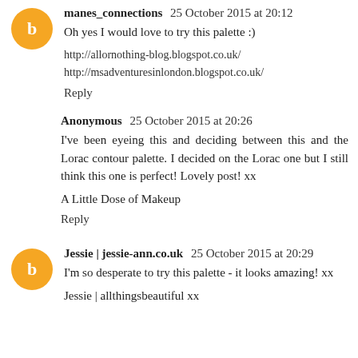manes_connections 25 October 2015 at 20:12
Oh yes I would love to try this palette :)
http://allornothing-blog.blogspot.co.uk/
http://msadventuresinlondon.blogspot.co.uk/
Reply
Anonymous 25 October 2015 at 20:26
I've been eyeing this and deciding between this and the Lorac contour palette. I decided on the Lorac one but I still think this one is perfect! Lovely post! xx
A Little Dose of Makeup
Reply
Jessie | jessie-ann.co.uk 25 October 2015 at 20:29
I'm so desperate to try this palette - it looks amazing! xx
Jessie | allthingsbeautiful xx